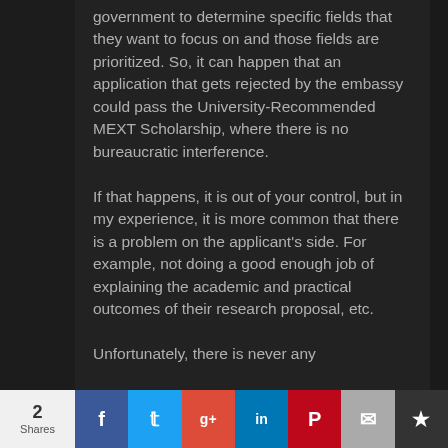government to determine specific fields that they want to focus on and those fields are prioritized. So, it can happen that an application that gets rejected by the embassy could pass the University-Recommended MEXT Scholarship, where there is no bureaucratic interference.
If that happens, it is out of your control, but in my experience, it is more common that there is a problem on the applicant's side. For example, not doing a good enough job of explaining the academic and practical outcomes of their research proposal, etc.
Unfortunately, there is never any
2 Shares  [social share buttons: Facebook, Twitter, Google+, LinkedIn, Pinterest, Email, Bookmark]